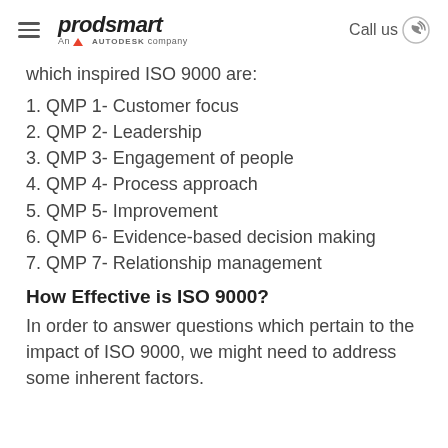prodsmart — An AUTODESK company | Call us
which inspired ISO 9000 are:
1. QMP 1- Customer focus
2. QMP 2- Leadership
3. QMP 3- Engagement of people
4. QMP 4- Process approach
5. QMP 5- Improvement
6. QMP 6- Evidence-based decision making
7. QMP 7- Relationship management
How Effective is ISO 9000?
In order to answer questions which pertain to the impact of ISO 9000, we might need to address some inherent factors.